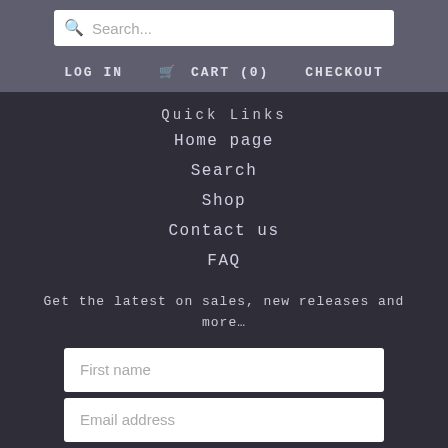[Figure (screenshot): Search input box with magnifying glass icon and placeholder text 'Search...']
LOG IN   🛒 CART (0)   CHECKOUT
Quick Links
Home page
Search
Shop
Contact us
FAQ
Get the latest on sales, new releases and more…
First name (input field)
Email address (input field)